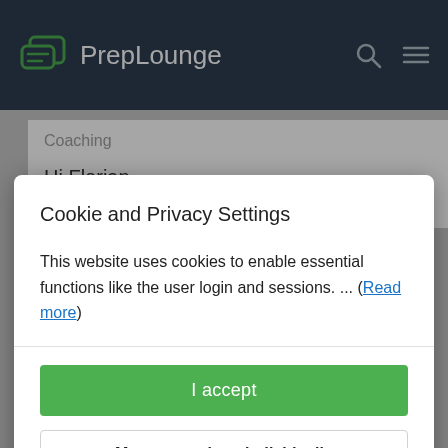[Figure (logo): PrepLounge logo — chat bubble icon in green/white with 'PrepLounge' text in white on dark navy navbar]
Coaching
Hi Florian,
Cookie and Privacy Settings
This website uses cookies to enable essential functions like the user login and sessions. ... (Read more)
I accept
Manage settings individually